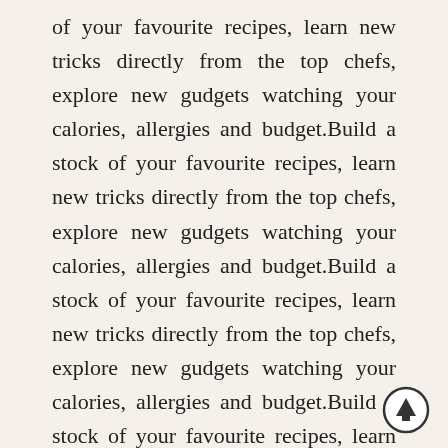of your favourite recipes, learn new tricks directly from the top chefs, explore new gudgets watching your calories, allergies and budget.Build a stock of your favourite recipes, learn new tricks directly from the top chefs, explore new gudgets watching your calories, allergies and budget.Build a stock of your favourite recipes, learn new tricks directly from the top chefs, explore new gudgets watching your calories, allergies and budget.Build a stock of your favourite recipes, learn new tricks directly from the top chefs, explore new gudgets watching your calories, allergies and budget.Build a stock of your favourite recipes, learn new tricks directly from the top chefs, explore new gudgets watching